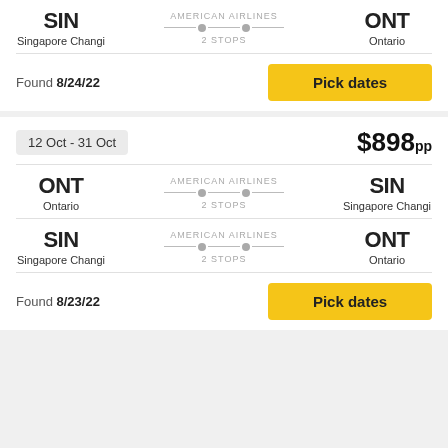SIN Singapore Changi — AMERICAN AIRLINES — 2 STOPS — ONT Ontario
Found 8/24/22
Pick dates
12 Oct - 31 Oct   $898pp
ONT Ontario — AMERICAN AIRLINES — 2 STOPS — SIN Singapore Changi
SIN Singapore Changi — AMERICAN AIRLINES — 2 STOPS — ONT Ontario
Found 8/23/22
Pick dates